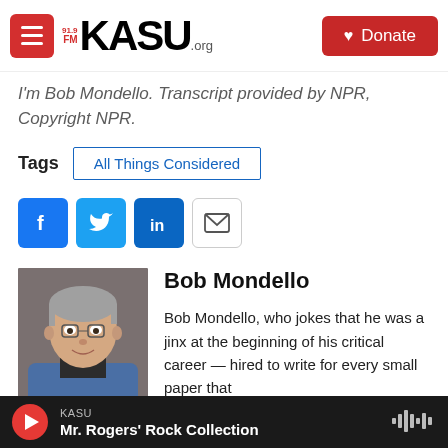91.9FM KASU.ORG | Donate
I'm Bob Mondello. Transcript provided by NPR, Copyright NPR.
Tags   All Things Considered
[Figure (infographic): Social sharing buttons: Facebook, Twitter, LinkedIn, Email]
[Figure (photo): Headshot photo of Bob Mondello, a man with gray hair and glasses wearing a blue shirt]
Bob Mondello
Bob Mondello, who jokes that he was a jinx at the beginning of his critical career — hired to write for every small paper that
KASU  Mr. Rogers' Rock Collection